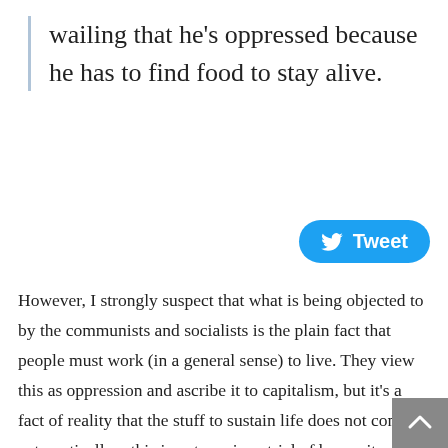wailing that he's oppressed because he has to find food to stay alive.
[Figure (other): Tweet button with Twitter bird icon]
However, I strongly suspect that what is being objected to by the communists and socialists is the plain fact that people must work (in a general sense) to live. They view this as oppression and ascribe it to capitalism, but it's a fact of reality that the stuff to sustain life does not come automatically—this is not a unique trial of humanity. You can imagine how long a modern communist would last on a deserted island, wailing that he's oppressed because he has to find food to stay alive. At the same time, the communists and socialists are ignorant that the bounty around them in developed countries is largely the result of human freedom—and therefore, they have a profound